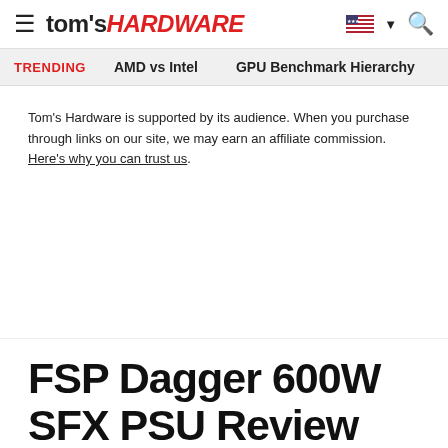tom's HARDWARE
TRENDING   AMD vs Intel   GPU Benchmark Hierarchy
Tom's Hardware is supported by its audience. When you purchase through links on our site, we may earn an affiliate commission. Here's why you can trust us.
FSP Dagger 600W SFX PSU Review